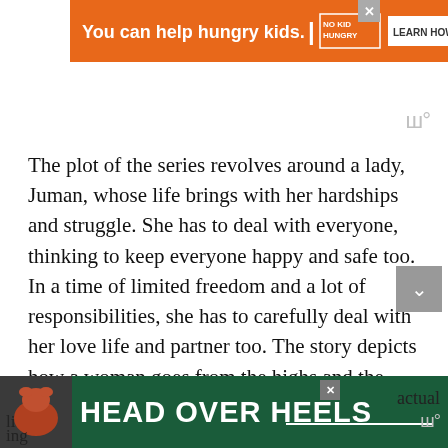[Figure (screenshot): Orange advertisement banner: 'You can help hungry kids.' with No Kid Hungry logo and 'LEARN HOW' button]
The plot of the series revolves around a lady, Juman, whose life brings with her hardships and struggle. She has to deal with everyone, thinking to keep everyone happy and safe too. In a time of limited freedom and a lot of responsibilities, she has to carefully deal with her love life and partner too. The story depicts how a woman goes from the highs and the lows and through the most bizarre and difficult situations of her life. The series will be best
[Figure (screenshot): Dark green advertisement banner at bottom: 'HEAD OVER HEELS' with dog image on left. Partial text visible: 'actual' and 'ing' on the right side.]